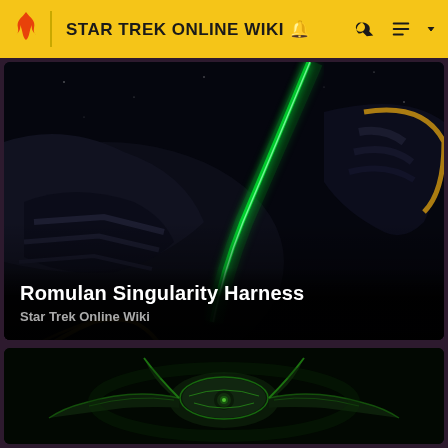STAR TREK ONLINE WIKI
[Figure (screenshot): Dark space scene with Romulan ship firing a green energy beam, with yellow-trimmed hull panels visible. Title overlay reads 'Romulan Singularity Harness' and subtitle 'Star Trek Online Wiki'.]
[Figure (screenshot): Dark space scene showing a green Romulan Warbird starship from the side, with glowing green trim/markings against a black background.]